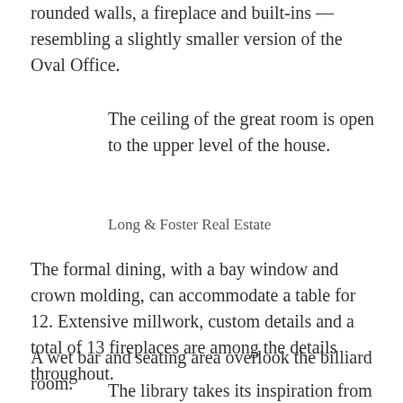rounded walls, a fireplace and built-ins — resembling a slightly smaller version of the Oval Office.
The ceiling of the great room is open to the upper level of the house.
Long & Foster Real Estate
The formal dining, with a bay window and crown molding, can accommodate a table for 12. Extensive millwork, custom details and a total of 13 fireplaces are among the details throughout.
A wet bar and seating area overlook the billiard room.
The library takes its inspiration from the Oval